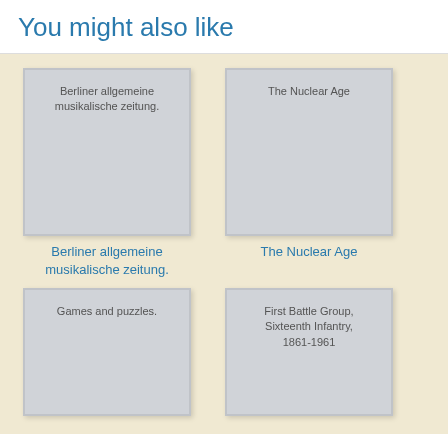You might also like
[Figure (illustration): Book cover thumbnail for Berliner allgemeine musikalische zeitung. - gray placeholder cover]
Berliner allgemeine musikalische zeitung.
[Figure (illustration): Book cover thumbnail for The Nuclear Age - gray placeholder cover]
The Nuclear Age
[Figure (illustration): Book cover thumbnail for Games and puzzles. - gray placeholder cover]
Games and puzzles.
[Figure (illustration): Book cover thumbnail for First Battle Group, Sixteenth Infantry, 1861-1961 - gray placeholder cover]
First Battle Group, Sixteenth Infantry, 1861-1961